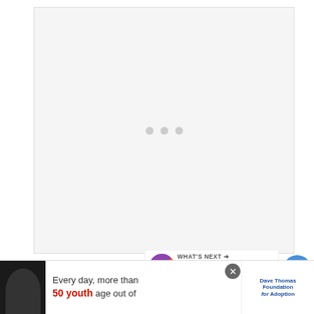[Figure (other): Loading placeholder with three grey dots centered in a light grey box]
Dave informed him that Brightwh... used by everyone from nannies to major
ea... n $40
to...
[Figure (other): WHAT'S NEXT panel with circular thumbnail showing cat/animal logo and text 'What Happened T...']
[Figure (other): Advertisement overlay: Every day, more than 50 youth age out of [Dave Thomas Foundation for Adoption logo]]
[Figure (other): Blue circular like/heart button with count 7, and share button below]